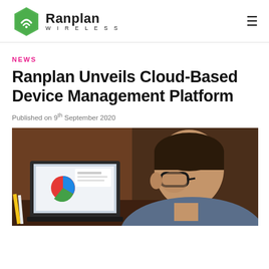Ranplan Wireless
NEWS
Ranplan Unveils Cloud-Based Device Management Platform
Published on 9th September 2020
[Figure (photo): Man with glasses looking down at a laptop screen displaying charts, photographed from the side in warm office lighting]